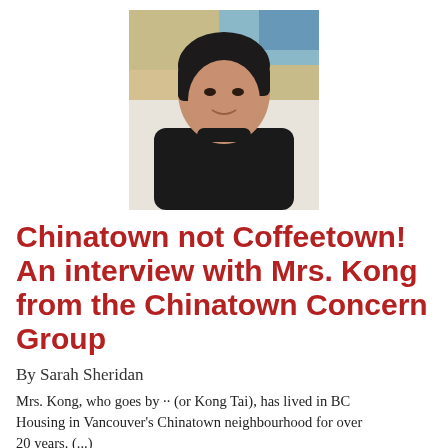[Figure (photo): Portrait photo of an elderly East Asian woman with short dark hair, wearing a black turtleneck, seated indoors with a colorful painting visible in the background.]
Chinatown not Coffeetown! An interview with Mrs. Kong from the Chinatown Concern Group
By Sarah Sheridan
Mrs. Kong, who goes by ·· (or Kong Tai), has lived in BC Housing in Vancouver's Chinatown neighbourhood for over 20 years. (...)